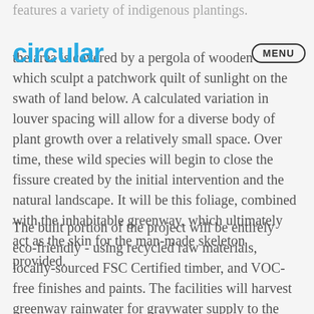features a variety of indigenous plantings.
the area is covered by a pergola of wooden louvers which sculpt a patchwork quilt of sunlight on the swath of land below. A calculated variation in louver spacing will allow for a diverse body of plant growth over a relatively small space. Over time, these wild species will begin to close the fissure created by the initial intervention and the natural landscape. It will be this foliage, combined with the inhabitable greenway, which ultimately act as the skin for the man-made skeleton provided.
The built portion of the project will be entirely eco-friendly - using recycled raw materials, locally-sourced FSC Certified timber, and VOC-free finishes and paints. The facilities will harvest greenway rainwater for graywater supply to the café and restrooms, and will exploit Connecticut's prevailing summertime South-Southwest winds for ventilation. The enclosures will use low-E